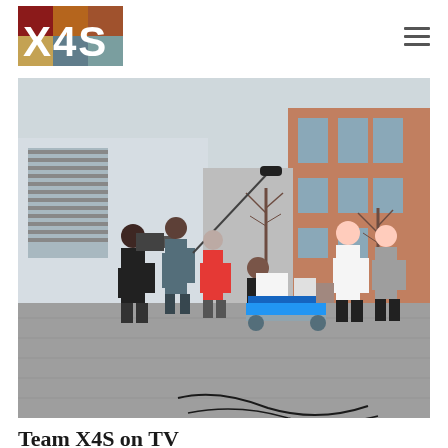X4S logo and navigation menu
[Figure (photo): Outdoor scene showing a film crew with camera and boom microphone interviewing or filming people near a blue equipment cart on a cobblestone plaza, with a brick and glass school or university building in the background. Several people are gathered around the cart.]
Team X4S on TV